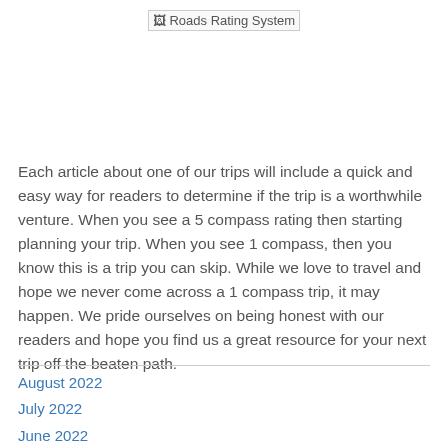[Figure (other): Broken image placeholder with alt text 'Roads Rating System']
Each article about one of our trips will include a quick and easy way for readers to determine if the trip is a worthwhile venture. When you see a 5 compass rating then starting planning your trip. When you see 1 compass, then you know this is a trip you can skip. While we love to travel and hope we never come across a 1 compass trip, it may happen. We pride ourselves on being honest with our readers and hope you find us a great resource for your next trip off the beaten path.
August 2022
July 2022
June 2022